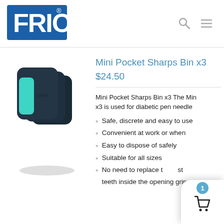[Figure (logo): FRIO brand logo — white bold letters on blue background with registration mark]
Mini Pocket Sharps Bin x3
$24.50
[Figure (photo): Three FRIO Mini Pocket Sharps Bins, dark navy/black casing with teal accent, stacked/fanned out]
Mini Pocket Sharps Bin x3 The Mini x3 is used for diabetic pen needles
Safe, discrete and easy to use
Convenient at work or when
Easy to dispose of safely
Suitable for all sizes of n
No need to replace the st teeth inside the opening grip